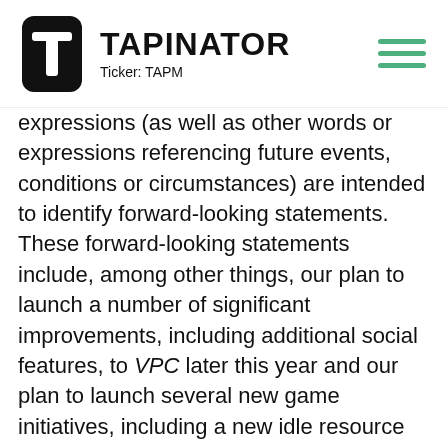[Figure (logo): Tapinator logo with stylized T icon and text 'TAPINATOR Ticker: TAPM' and hamburger menu icon in green]
expressions (as well as other words or expressions referencing future events, conditions or circumstances) are intended to identify forward-looking statements. These forward-looking statements include, among other things, our plan to launch a number of significant improvements, including additional social features, to VPC later this year and our plan to launch several new game initiatives, including a new idle resource management game in Q2 of this year. Forward-looking statements are subject to risks and uncertainties that could cause our future results, performance or achievements to differ significantly from those expressed or implied by the forward-looking statements. Except as required by law, Tapinator undertakes no obligation to update or revise any forward-looking statements. The quoting and trading of the